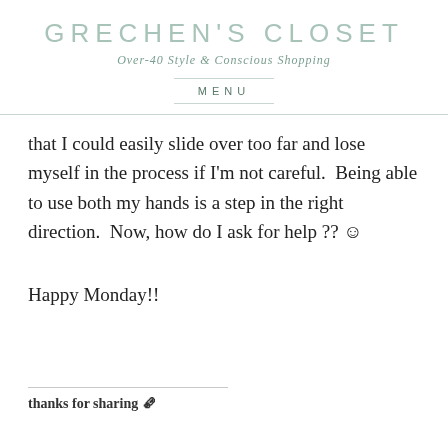GRECHEN'S CLOSET
Over-40 Style & Conscious Shopping
MENU
that I could easily slide over too far and lose myself in the process if I'm not careful.  Being able to use both my hands is a step in the right direction.  Now, how do I ask for help ?? ☺
Happy Monday!!
thanks for sharing 📰